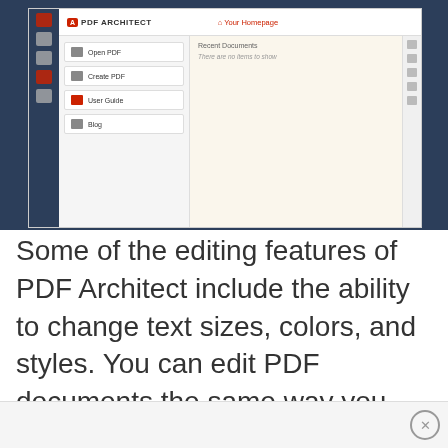[Figure (screenshot): Screenshot of PDF Architect application showing its home screen with sidebar navigation buttons (Open PDF, Create PDF, User Guide, Blog), a homepage area with Recent Documents panel showing 'There are no items to show', and app toolbar icons on left and right.]
Some of the editing features of PDF Architect include the ability to change text sizes, colors, and styles. You can edit PDF documents the same way you would when operating a Word Processor.